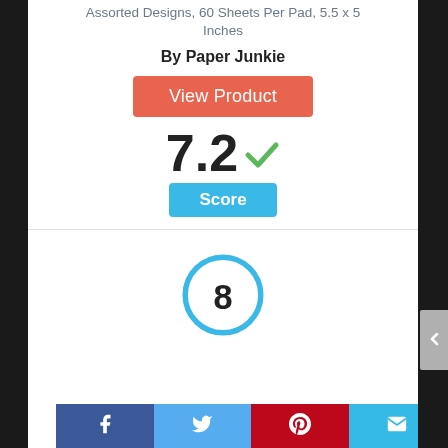Assorted Designs, 60 Sheets Per Pad, 5.5 x 5 Inches
By Paper Junkie
[Figure (other): Orange 'View Product' button]
7.2 ✓
[Figure (other): Blue 'Score' badge label]
[Figure (other): Blue circle with number 8 inside]
[Figure (other): Social media footer bar with Facebook, Twitter, Pinterest, and Email icons]